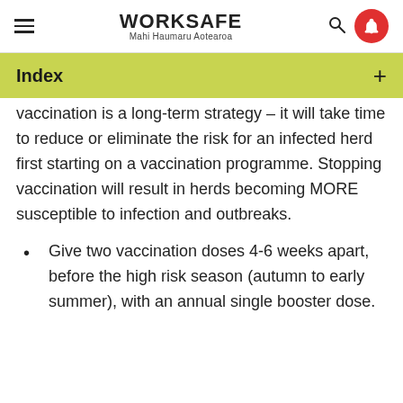WORKSAFE Mahi Haumaru Aotearoa
Index
vaccination is a long-term strategy – it will take time to reduce or eliminate the risk for an infected herd first starting on a vaccination programme. Stopping vaccination will result in herds becoming MORE susceptible to infection and outbreaks.
Give two vaccination doses 4-6 weeks apart, before the high risk season (autumn to early summer), with an annual single booster dose.